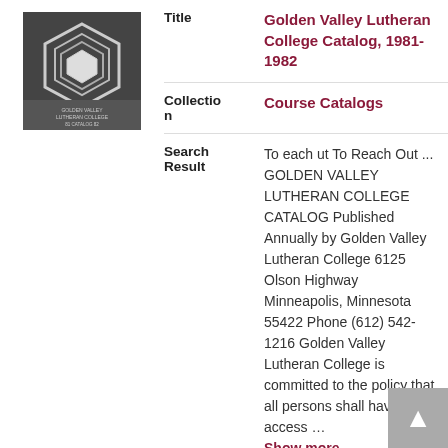[Figure (photo): Thumbnail image of Golden Valley Lutheran College Catalog 1981-1982 cover, hexagon design on dark background]
| Title | Golden Valley Lutheran College Catalog, 1981-1982 |
| Collection | Course Catalogs |
| Search Result | To each ut To Reach Out ... GOLDEN VALLEY LUTHERAN COLLEGE CATALOG Published Annually by Golden Valley Lutheran College 6125 Olson Highway Minneapolis, Minnesota 55422 Phone (612) 542-1216 Golden Valley Lutheran College is committed to the policy that all persons shall have equal access ... Show more |
[Figure (photo): Thumbnail image of Augsburg College Summer Catalog 1981 cover, green with leaf logo]
| Title | Augsburg College Summer Catalog, 1981 |